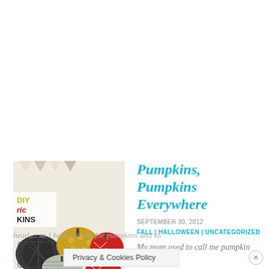[Figure (photo): Thumbnail image showing DIY fabric pumpkins in various patterns (chevron, polka dot, geometric) with text overlay reading DIY / fabric / PKINS on the left side]
Pumpkins, Pumpkins Everywhere
SEPTEMBER 30, 2012
FALL | HALLOWEEN | UNCATEGORIZED
My mom used to call me pumpkin head.... so I have a thing for pumpkins and so
Privacy & Cookies Policy